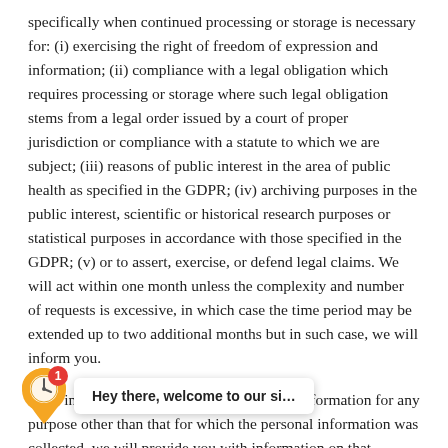specifically when continued processing or storage is necessary for: (i) exercising the right of freedom of expression and information; (ii) compliance with a legal obligation which requires processing or storage where such legal obligation stems from a legal order issued by a court of proper jurisdiction or compliance with a statute to which we are subject; (iii) reasons of public interest in the area of public health as specified in the GDPR; (iv) archiving purposes in the public interest, scientific or historical research purposes or statistical purposes in accordance with those specified in the GDPR; (v) or to assert, exercise, or defend legal claims. We will act within one month unless the complexity and number of requests is excessive, in which case the time period may be extended up to two additional months but in such case, we will inform you.
If we intend to further process the personal information for any purpose other than that for which the personal [information was collected, we will provide you with information on that purpose, together with any relevant additional information, prior to such processing. You may restrict us from processing your personal